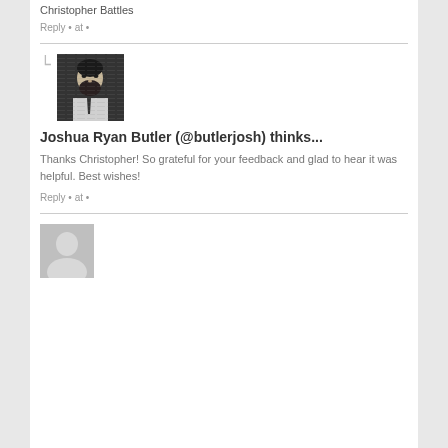Christopher Battles
Reply • at •
[Figure (photo): Profile photo of Joshua Ryan Butler — man with beard and suit]
Joshua Ryan Butler (@butlerjosh) thinks...
Thanks Christopher! So grateful for your feedback and glad to hear it was helpful. Best wishes!
Reply • at •
[Figure (photo): Generic grey avatar/placeholder profile image]